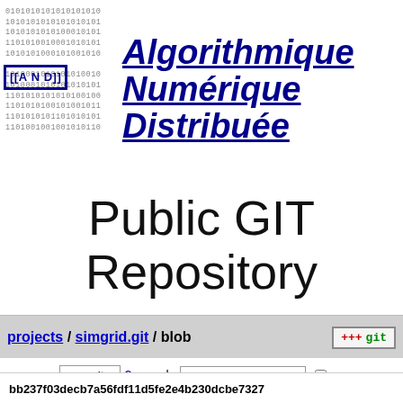[Figure (logo): Binary code background with AND badge on the left, and large italic bold underlined blue text 'Algorithmique Numérique Distribuée' on the right]
Public GIT Repository
projects / simgrid.git / blob
commit ? search: re
bb237f03decb7a56fdf11d5fe2e4b230dcbe7327